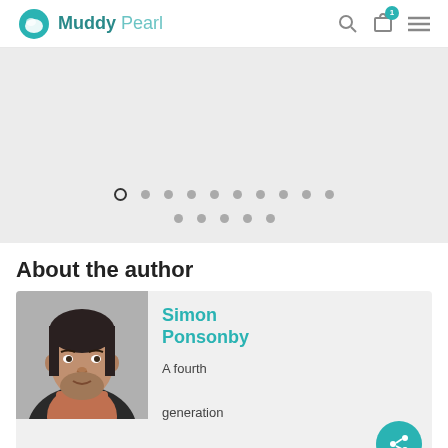Muddy Pearl
[Figure (screenshot): Carousel slider with dot navigation indicators — one open circle (active) and multiple filled grey dots in two rows]
About the author
[Figure (photo): Headshot of Simon Ponsonby, a man with dark hair and a beard wearing a patterned shirt]
Simon Ponsonby
A fourth generation preacher, Simon